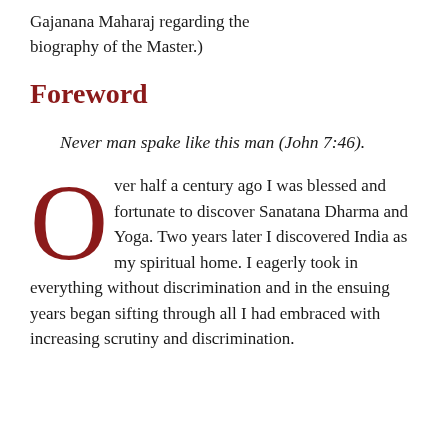Gajanana Maharaj regarding the biography of the Master.)
Foreword
Never man spake like this man (John 7:46).
Over half a century ago I was blessed and fortunate to discover Sanatana Dharma and Yoga. Two years later I discovered India as my spiritual home. I eagerly took in everything without discrimination and in the ensuing years began sifting through all I had embraced with increasing scrutiny and discrimination.